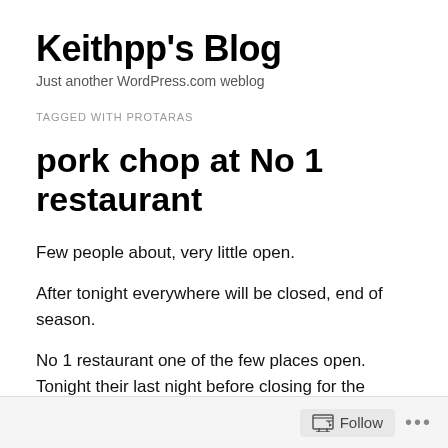Keithpp's Blog
Just another WordPress.com weblog
TAGGED WITH PROTARAS
pork chop at No 1 restaurant
Few people about, very little open.
After tonight everywhere will be closed, end of season.
No 1 restaurant one of the few places open. Tonight their last night before closing for the season.
Follow •••